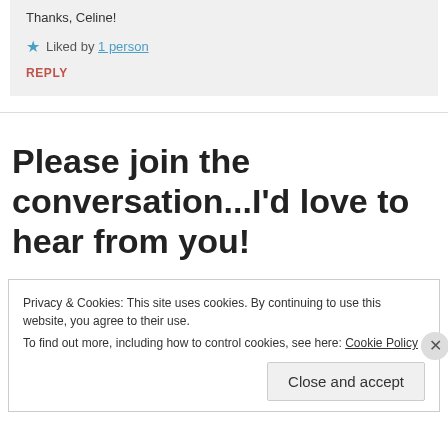Thanks, Celine!
Liked by 1 person
REPLY
Please join the conversation...I'd love to hear from you!
Privacy & Cookies: This site uses cookies. By continuing to use this website, you agree to their use. To find out more, including how to control cookies, see here: Cookie Policy
Close and accept